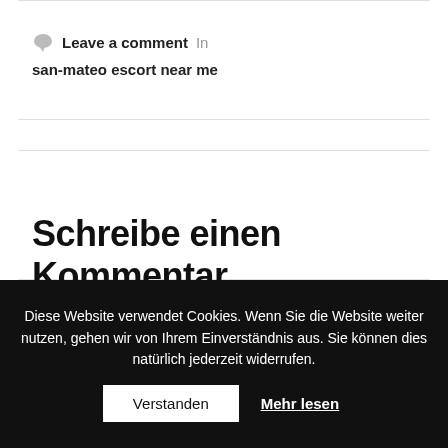Leave a comment  In
san-mateo escort near me
Schreibe einen Kommentar
Diese Website verwendet Cookies. Wenn Sie die Website weiter nutzen, gehen wir von Ihrem Einverständnis aus. Sie können dies natürlich jederzeit widerrufen.
Verstanden
Mehr lesen